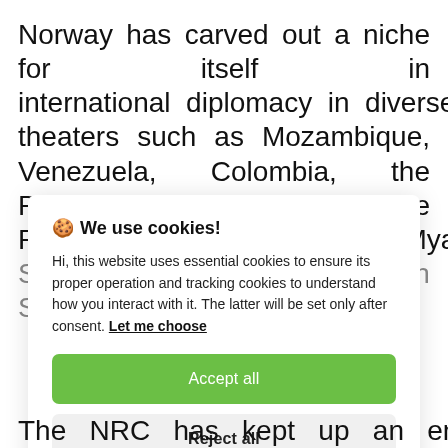Norway has carved out a niche for itself in international diplomacy in diverse theaters such as Mozambique, Venezuela, Colombia, the Philippines, Israel and the Palestinian Territories, Syria, Myanmar, Somalia, Colombia, and South Sudan.
[Figure (screenshot): Cookie consent popup overlay with title 'We use cookies!', descriptive text about essential and tracking cookies, a 'Let me choose' link, an 'Accept all' green button, and a 'Reject all' grey button.]
The NRC has kept up an enviable